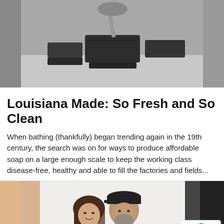[Figure (photo): Black and white photo of hands cutting soap bars on a wooden surface, with several dark rectangular soap bars visible]
Louisiana Made: So Fresh and So Clean
When bathing (thankfully) began trending again in the 19th century, the search was on for ways to produce affordable soap on a large enough scale to keep the working class disease-free, healthy and able to fill the factories and fields...
[Figure (photo): Color photo of a man and woman posing together, man wearing a black cap and black shirt with a beard, woman with long dark hair, blurred colorful background]